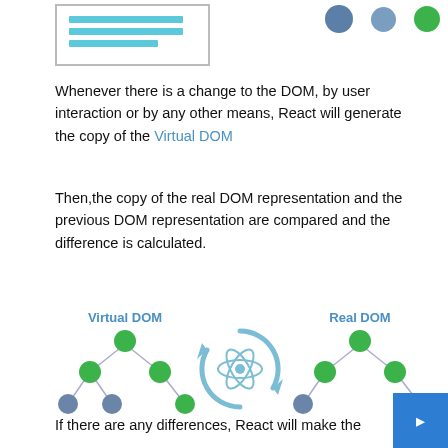[Figure (illustration): Top portion of a document/diagram showing a document icon with blue lines and tree nodes (blue/green circles) at top right, partially cropped]
Whenever there is a change to the DOM, by user interaction or by any other means, React will generate the copy of the Virtual DOM
Then,the copy of the real DOM representation and the previous DOM representation are compared and the difference is calculated.
[Figure (illustration): Diagram showing Virtual DOM (tree of green and blue/slate circles connected by lines) on left, React logo (atom with circular arrows) in center, and Real DOM (similar tree) on right. Labels: 'Virtual DOM' and 'Real DOM' in blue above the trees.]
If there are any differences, React will make the